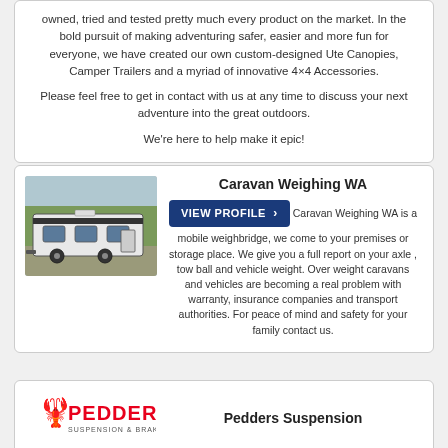owned, tried and tested pretty much every product on the market. In the bold pursuit of making adventuring safer, easier and more fun for everyone, we have created our own custom-designed Ute Canopies, Camper Trailers and a myriad of innovative 4×4 Accessories.
Please feel free to get in contact with us at any time to discuss your next adventure into the great outdoors.
We're here to help make it epic!
[Figure (photo): Photo of a white and black caravan parked outdoors with trees in background]
Caravan Weighing WA
VIEW PROFILE > Caravan Weighing WA is a mobile weighbridge, we come to your premises or storage place. We give you a full report on your axle , tow ball and vehicle weight. Over weight caravans and vehicles are becoming a real problem with warranty, insurance companies and transport authorities. For peace of mind and safety for your family contact us.
[Figure (logo): Pedders Suspension & Brakes logo with red text and snake/dragon icon]
Pedders Suspension